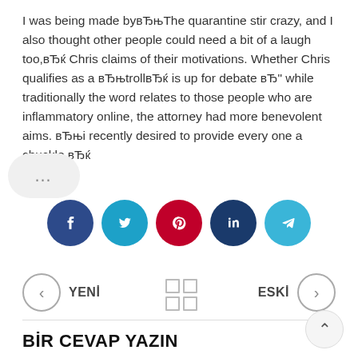I was being made byвЂњThe quarantine stir crazy, and I also thought other people could need a bit of a laugh too,вЂќ Chris claims of their motivations. Whether Chris qualifies as a вЂњtrollвЂќ is up for debate вЂ" while traditionally the word relates to those people who are inflammatory online, the attorney had more benevolent aims. вЂњi recently desired to provide every one a chuckle.вЂќ
[Figure (other): Social share buttons: Facebook (dark blue), Twitter (cyan), Pinterest (red), LinkedIn (dark blue), Telegram (light blue)]
YENİ | grid icon | ESKİ navigation row
BİR CEVAP YAZIN
E-posta hesabınız yayımlanmayacak. Gerekli alanlar * ile işaretlenmiştir.